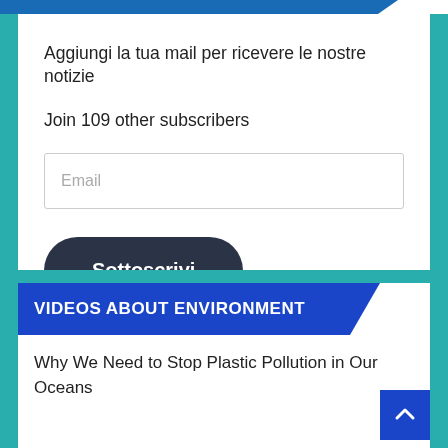Aggiungi la tua mail per ricevere le nostre notizie
Join 109 other subscribers
Email
Sottoscrivi
VIDEOS ABOUT ENVIRONMENT
Why We Need to Stop Plastic Pollution in Our Oceans